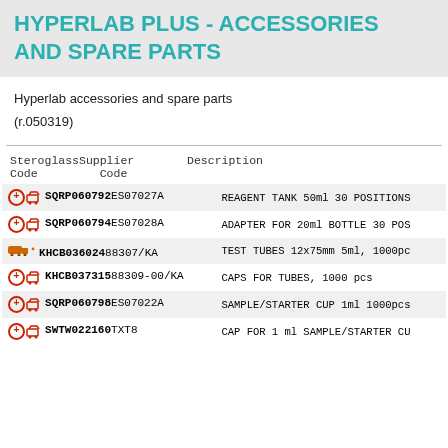HYPERLAB PLUS - ACCESSORIES AND SPARE PARTS
Hyperlab accessories and spare parts
(r.050319)
| SteroglassSupplier Code | Code | Description |
| --- | --- | --- |
| SQRP060792 | ES07027A | REAGENT TANK 50ml 30 POSITIONS |
| SQRP060794 | ES07028A | ADAPTER FOR 20ml BOTTLE 30 POS |
| KHCB036024 | 88307/KA | TEST TUBES 12x75mm 5ml, 1000pc |
| KHCB037315 | 88309-00/KA | CAPS FOR TUBES, 1000 pcs |
| SQRP060798 | ES07022A | SAMPLE/STARTER CUP 1ml 1000pcs |
| SWTW022160 | TXT8 | CAP FOR 1 ml SAMPLE/STARTER CU |